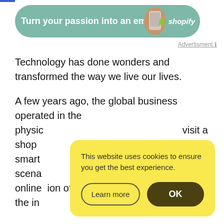[Figure (illustration): Shopify advertisement banner with teal/green rounded rectangle background, text 'Turn your passion into an empire', hand holding phone image, and Shopify logo]
Advertisment ℹ
Technology has done wonders and transformed the way we live our lives.
A few years ago, the global business operated in the physic... visit a shop... smart... scena... online... ion of the in...
This website uses cookies to ensure you get the best experience.
Learn more
OK